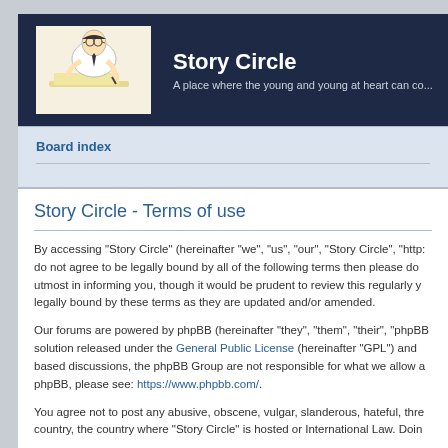Story Circle — A place where the young and young at heart can co...
Board index
Story Circle - Terms of use
By accessing “Story Circle” (hereinafter “we”, “us”, “our”, “Story Circle”, “http... do not agree to be legally bound by all of the following terms then please do... utmost in informing you, though it would be prudent to review this regularly y... legally bound by these terms as they are updated and/or amended.
Our forums are powered by phpBB (hereinafter “they”, “them”, “their”, “phpBB... solution released under the “General Public License” (hereinafter “GPL”) and... based discussions, the phpBB Group are not responsible for what we allow a... phpBB, please see: https://www.phpbb.com/.
You agree not to post any abusive, obscene, vulgar, slanderous, hateful, thre... country, the country where “Story Circle” is hosted or International Law. Doin...